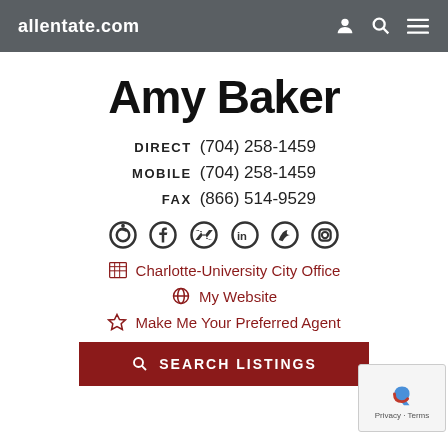allentate.com
Amy Baker
DIRECT  (704) 258-1459
MOBILE  (704) 258-1459
FAX  (866) 514-9529
[Figure (infographic): Social media icons: Pinterest, Facebook, Twitter, LinkedIn, RSS/Blog, Instagram]
Charlotte-University City Office
My Website
Make Me Your Preferred Agent
SEARCH LISTINGS